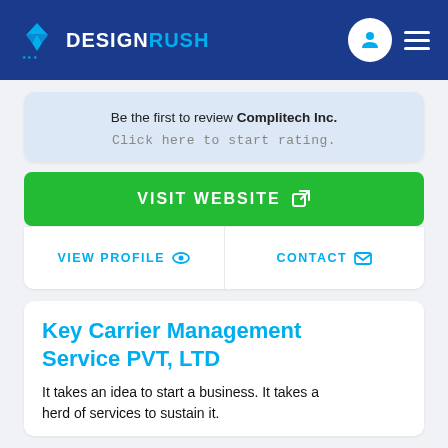DESIGNRUSH
Be the first to review Complitech Inc.
Click here to start rating.
VISIT WEBSITE
VIEW PROFILE
CONTACT
Key Carrier Management Service PVT, LTD
It takes an idea to start a business. It takes a herd of services to sustain it.